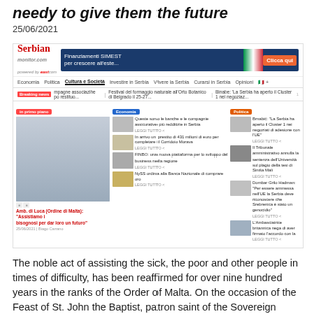needy to give them the future
25/06/2021
[Figure (screenshot): Screenshot of Serbian Monitor website showing article about Amb. di Luca (Ordine di Malta): 'Assistiamo i bisognosi per dar loro un futuro', with navigation bar showing Economia, Politica, Cultura e Società, Investire in Serbia, Vivere la Serbia, Curarsi in Serbia, Opinioni sections, breaking news ticker, and article grid with images.]
The noble act of assisting the sick, the poor and other people in times of difficulty, has been reaffirmed for over nine hundred years in the ranks of the Order of Malta. On the occasion of the Feast of St. John the Baptist, patron saint of the Sovereign Military Order of Malta, which the Catholic calendar commemorates on 24 June, we interviewed the Ambassador of the